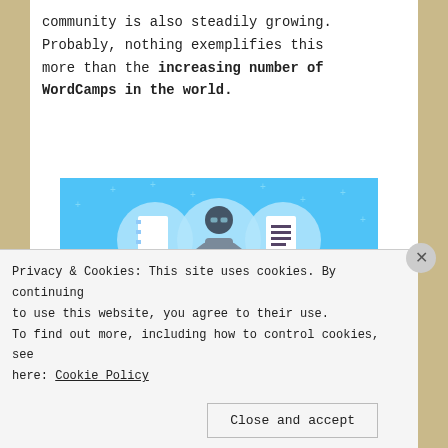community is also steadily growing. Probably, nothing exemplifies this more than the increasing number of WordCamps in the world.
[Figure (illustration): Day One app advertisement. Blue background with small plus/star sparkles. Three circular icons at top: a notebook, a person using a phone/tablet, and a list/document. Below icons, text reads 'DAY ONE' in spaced sans-serif letters, then 'The only journaling app you'll ever need.' followed by a dark blue button 'Get the app'.]
Privacy & Cookies: This site uses cookies. By continuing to use this website, you agree to their use. To find out more, including how to control cookies, see here: Cookie Policy
Close and accept